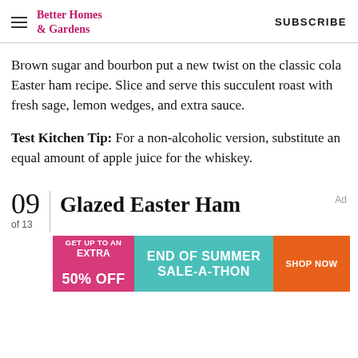Better Homes & Gardens   SUBSCRIBE
Brown sugar and bourbon put a new twist on the classic cola Easter ham recipe. Slice and serve this succulent roast with fresh sage, lemon wedges, and extra sauce.
Test Kitchen Tip: For a non-alcoholic version, substitute an equal amount of apple juice for the whiskey.
09 of 13 Glazed Easter Ham
[Figure (other): Advertisement banner: GET UP TO AN EXTRA 50% OFF | END OF SUMMER SALE-A-THON | SHOP NOW]